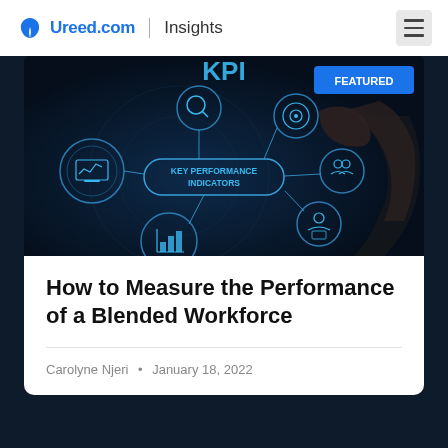Ureed.com | Insights
[Figure (photo): Dark tech background image showing glowing blue holographic circles connected to a central capsule labeled 'KEY PERFORMANCE INDICATORS', with 'KPI' text at the top, various performance icons, and a hand touching one of the circles. A blue 'FEATURED' badge appears in the top right.]
How to Measure the Performance of a Blended Workforce
Carolyne Njeri • January 18, 2022